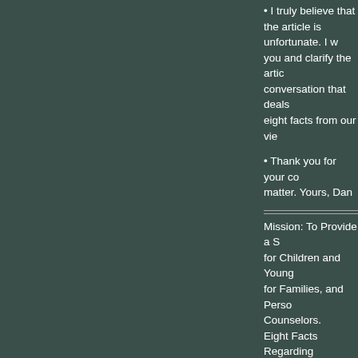• I truly believe that the article is unfortunate. I would like to meet with you and clarify the article and have a conversation that deals with the eight facts from our view...
• Thank you for your consideration of this matter. Yours, Dan
Mission: To Provide a Safe Environment for Children and Young Adults, Support for Families, andPersonalized Counselors.
Eight Facts Regarding ...
1. Property was not abandoned before September 10, 2014. NHC has owned it since 2008 while the property the entire time we maintained the property in good condition at considerable expense to preserve its value.